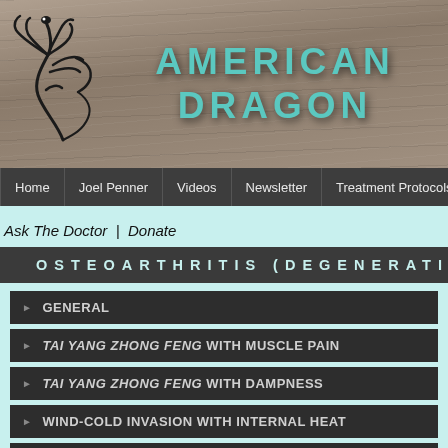[Figure (logo): American Dragon website header banner with dragon logo on left and 'AMERICAN DRAGON' text in teal on wood-textured background]
Home | Joel Penner | Videos | Newsletter | Treatment Protocols | Tu...
Ask The Doctor | Donate
OSTEOARTHRITIS (DEGENERATI...
GENERAL
TAI YANG ZHONG FENG WITH MUSCLE PAIN
TAI YANG ZHONG FENG WITH DAMPNESS
WIND-COLD INVASION WITH INTERNAL HEAT
TAI YANG SHANG HAN WITH KIDNEY YANG DEFICIENCY
WIND-COLD INVASION DUE TO WEI QI DEFICIENCY
WIND-COLD-DAMP BI